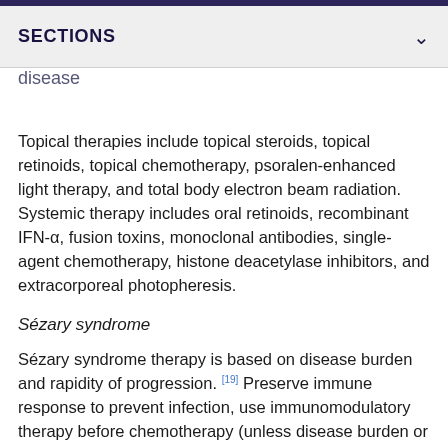SECTIONS
disease
Topical therapies include topical steroids, topical retinoids, topical chemotherapy, psoralen-enhanced light therapy, and total body electron beam radiation. Systemic therapy includes oral retinoids, recombinant IFN-α, fusion toxins, monoclonal antibodies, single-agent chemotherapy, histone deacetylase inhibitors, and extracorporeal photopheresis.
Sézary syndrome
Sézary syndrome therapy is based on disease burden and rapidity of progression. [19] Preserve immune response to prevent infection, use immunomodulatory therapy before chemotherapy (unless disease burden or therapeutic failure requires otherwise), and consider combination therapy over monotherapy, particularly systemic immunomodulatory therapy plus skin-directed treatments.